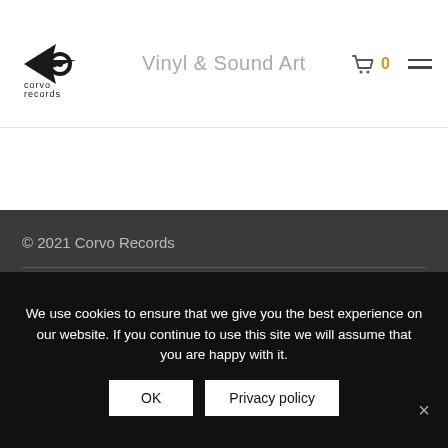Corvo Records — Vinyl & Sound Art
© 2021 Corvo Records
Contact
General Terms of Business (AGB)
Imprint
We use cookies to ensure that we give you the best experience on our website. If you continue to use this site we will assume that you are happy with it.